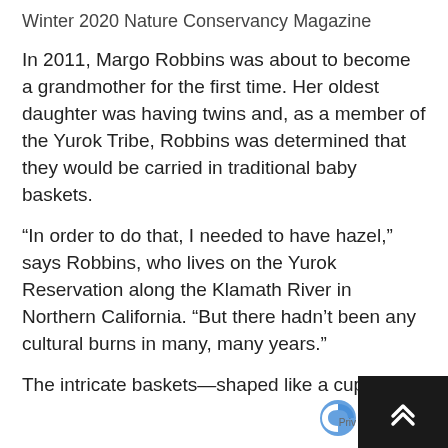Winter 2020 Nature Conservancy Magazine
In 2011, Margo Robbins was about to become a grandmother for the first time. Her oldest daughter was having twins and, as a member of the Yurok Tribe, Robbins was determined that they would be carried in traditional baby baskets.
“In order to do that, I needed to have hazel,” says Robbins, who lives on the Yurok Reservation along the Klamath River in Northern California. “But there hadn’t been any cultural burns in many, many years.”
The intricate baskets—shaped like a cupped